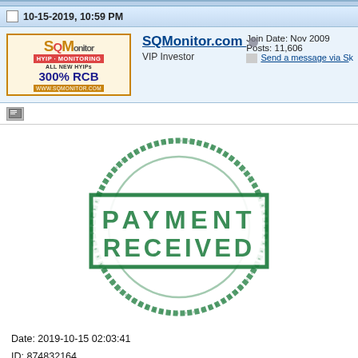10-15-2019, 10:59 PM
SQMonitor.com
VIP Investor
Join Date: Nov 2009
Posts: 11,606
Send a message via S...
[Figure (other): Green rubber stamp image reading PAYMENT RECEIVED in large block letters inside a rectangle with a circle behind it]
Date: 2019-10-15 02:03:41
ID: 874832164
Details: P8676417 > P1050055
Amount: 0.39 USD
Comment: Withdraw to sqmonitor from fxglonet.com